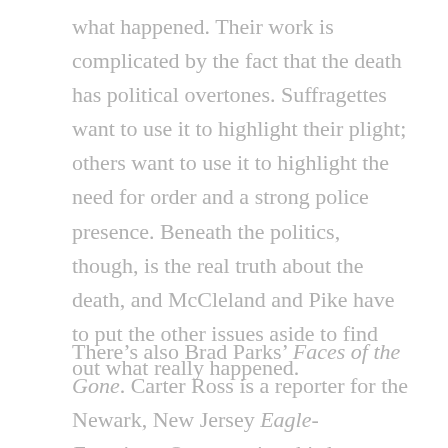what happened. Their work is complicated by the fact that the death has political overtones. Suffragettes want to use it to highlight their plight; others want to use it to highlight the need for order and a strong police presence. Beneath the politics, though, is the real truth about the death, and McCleland and Pike have to put the other issues aside to find out what really happened.
There's also Brad Parks' Faces of the Gone. Carter Ross is a reporter for the Newark, New Jersey Eagle-Examiner. One morning, his boss sends